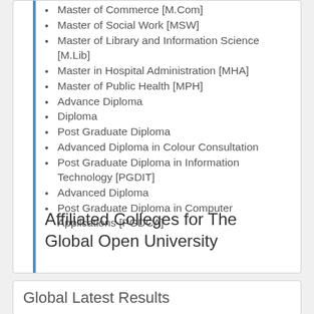Master of Commerce [M.Com]
Master of Social Work [MSW]
Master of Library and Information Science [M.Lib]
Master in Hospital Administration [MHA]
Master of Public Health [MPH]
Advance Diploma
Diploma
Post Graduate Diploma
Advanced Diploma in Colour Consultation
Post Graduate Diploma in Information Technology [PGDIT]
Advanced Diploma
Post Graduate Diploma in Computer Applications [PGDCA]
Affiliated Colleges for The Global Open University
Global Latest Results